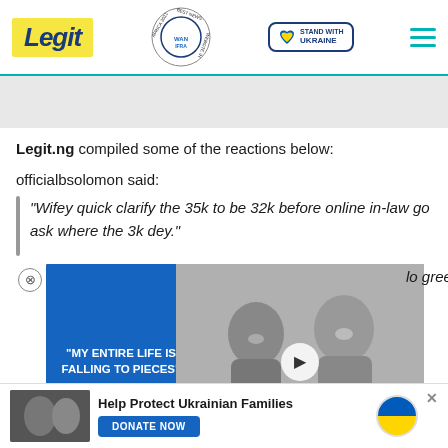Legit · WAN IFRA 2021 Best News Website in Africa · Stand with Ukraine
Legit.ng compiled some of the reactions below:
officialbsolomon said:
"Wifey quick clarify the 35k to be 32k before online in-law go ask where the 3k dey."
[Figure (screenshot): Video overlay showing text 'MY ENTIRE LIFE IS FALLING TO PIECES' on blue background with two people laughing, play button visible, red minimize button at bottom]
lo gree ooo!!!"
[Figure (photo): Bottom advertisement banner: Help Protect Ukrainian Families - DONATE NOW button with Ukrainian flag heart icon and small photo of people]